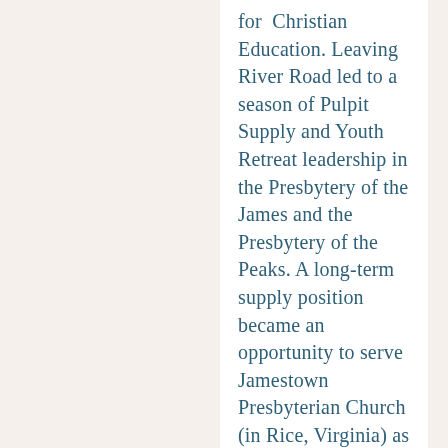for Christian Education. Leaving River Road led to a season of Pulpit Supply and Youth Retreat leadership in the Presbytery of the James and the Presbytery of the Peaks. A long-term supply position became an opportunity to serve Jamestown Presbyterian Church (in Rice, Virginia) as their solo pastor. This was a unique and very small church. She left Jamestown after her son was born and took time to enjoy a season of being a stay-at-home mom. During this time, she served on the Board of Trustees at Massanetta Springs, continued to provide Pulpit Supply around the Presbyteries of James and Peaks, and provided leadership at many